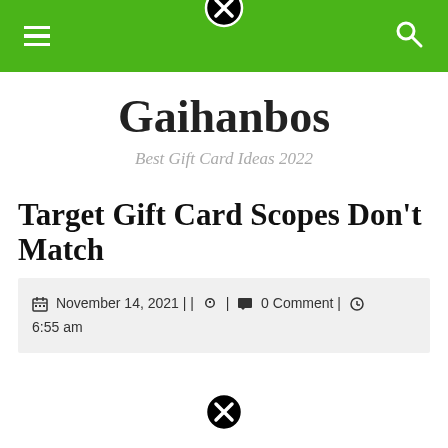Gaihanbos — Best Gift Card Ideas 2022 [navigation header with menu and search icons]
Gaihanbos
Best Gift Card Ideas 2022
Target Gift Card Scopes Don't Match
November 14, 2021 | | | 0 Comment | 6:55 am